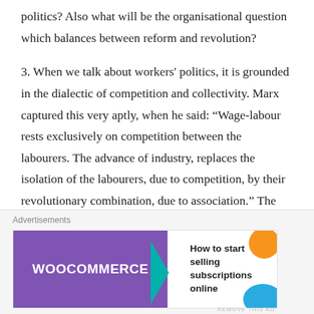politics? Also what will be the organisational question which balances between reform and revolution?
3. When we talk about workers' politics, it is grounded in the dialectic of competition and collectivity. Marx captured this very aptly, when he said: “Wage-labour rests exclusively on competition between the labourers. The advance of industry, replaces the isolation of the labourers, due to competition, by their revolutionary combination, due to association.” The politics that is premised upon the segmentation of the workers vs the politics of ever-expanding combination and association, that is grounded in the everyday interaction among
[Figure (other): Advertisement banner for WooCommerce with text 'How to start selling subscriptions online']